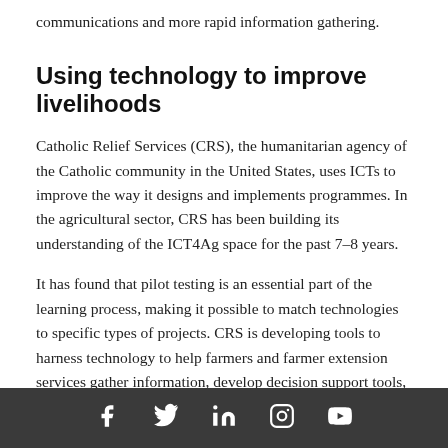communications and more rapid information gathering.
Using technology to improve livelihoods
Catholic Relief Services (CRS), the humanitarian agency of the Catholic community in the United States, uses ICTs to improve the way it designs and implements programmes. In the agricultural sector, CRS has been building its understanding of the ICT4Ag space for the past 7–8 years.
It has found that pilot testing is an essential part of the learning process, making it possible to match technologies to specific types of projects. CRS is developing tools to harness technology to help farmers and farmer extension services gather information, develop decision support tools, map their work and monitor business performance. For example, farmers are given a vouchers which they can use to purchase seeds to help them
Social media icons: Facebook, Twitter, LinkedIn, Instagram, YouTube